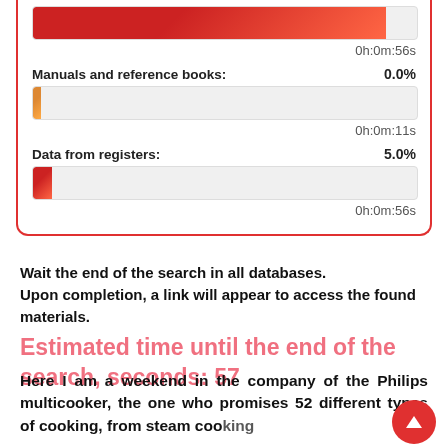[Figure (infographic): Search progress box with progress bars for 'Manuals and reference books' (0.0%, 0h:0m:11s) and 'Data from registers' (5.0%, 0h:0m:56s)]
Wait the end of the search in all databases.
Upon completion, a link will appear to access the found materials.
Estimated time until the end of the search, seconds: 57
Here I am a weekend in the company of the Philips multicooker, the one who promises 52 different types of cooking, from steam cooking